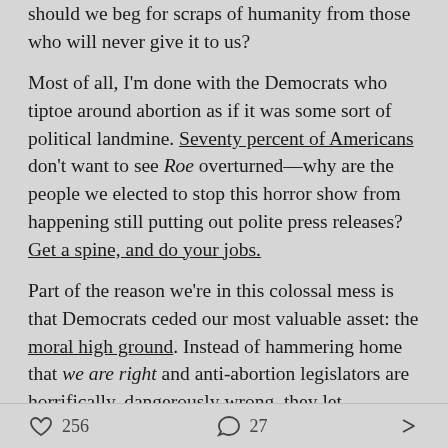should we beg for scraps of humanity from those who will never give it to us?
Most of all, I'm done with the Democrats who tiptoe around abortion as if it was some sort of political landmine. Seventy percent of Americans don't want to see Roe overturned—why are the people we elected to stop this horror show from happening still putting out polite press releases? Get a spine, and do your jobs.
Part of the reason we're in this colossal mess is that Democrats ceded our most valuable asset: the moral high ground. Instead of hammering home that we are right and anti-abortion legislators are horrifically, dangerously wrong, they let conservatives call themselves the party of life. They spoke in whispers and
256  27